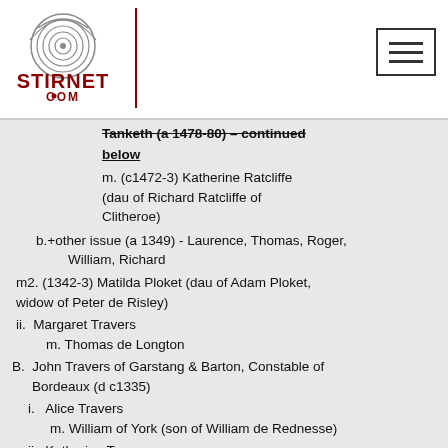STIRNET.COM (logo with hamburger menu)
Tanketh (a 1478-80) – continued below
m. (c1472-3) Katherine Ratcliffe (dau of Richard Ratcliffe of Clitheroe)
b.+other issue (a 1349) - Laurence, Thomas, Roger, William, Richard
m2. (1342-3) Matilda Ploket (dau of Adam Ploket, widow of Peter de Risley)
ii. Margaret Travers
    m. Thomas de Longton
B. John Travers of Garstang & Barton, Constable of Bordeaux (d c1335)
i. Alice Travers
   m. William of York (son of William de Rednesse)
ii. Katherine Travers
    m. John in Bolton (son of John de Barton)
C. Orme Travers of Hesham (a 1323)
i. Thomas Travers of Hesham (a 1347)
   a. Thomas Travers of Hesham (a 1350)